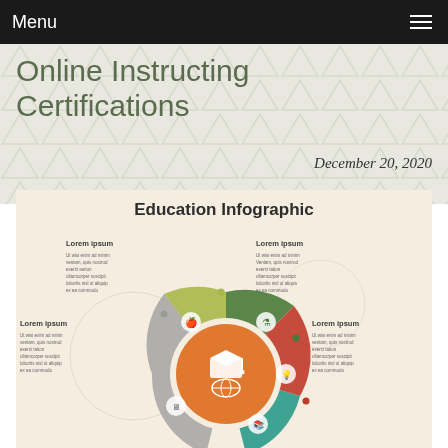Menu
Online Instructing Certifications
December 20, 2020
[Figure (infographic): Education Infographic showing a circular diagram with 5 colored segments (yellow-green, dark green, red, teal, gray) each with an icon and Lorem ipsum label. Center circle is orange with a graduation cap and globe icon. Segments surround the center with icons for: globe with apple (education), science flask with globe, laptop with light bulb, books, and computer screen. Each segment has a 'Lorem ipsum' heading and placeholder paragraph text.]